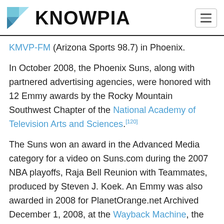KNOWPIA
KMVP-FM (Arizona Sports 98.7) in Phoenix.
In October 2008, the Phoenix Suns, along with partnered advertising agencies, were honored with 12 Emmy awards by the Rocky Mountain Southwest Chapter of the National Academy of Television Arts and Sciences.[120]
The Suns won an award in the Advanced Media category for a video on Suns.com during the 2007 NBA playoffs, Raja Bell Reunion with Teammates, produced by Steven J. Koek. An Emmy was also awarded in 2008 for PlanetOrange.net Archived December 1, 2008, at the Wayback Machine, the team's official online fan community. The site was produced by Suns VP of Interactive Services, Jeramie